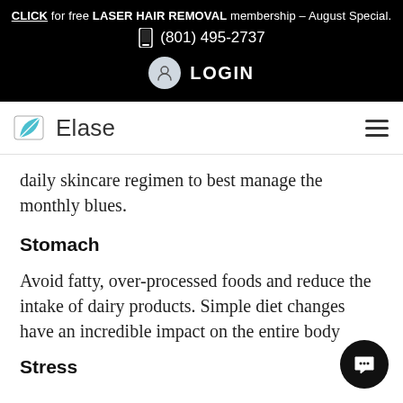CLICK for free LASER HAIR REMOVAL membership – August Special. (801) 495-2737 LOGIN
[Figure (logo): Elase logo with teal leaf icon and text 'Elase']
daily skincare regimen to best manage the monthly blues.
Stomach
Avoid fatty, over-processed foods and reduce the intake of dairy products. Simple diet changes have an incredible impact on the entire body
Stress